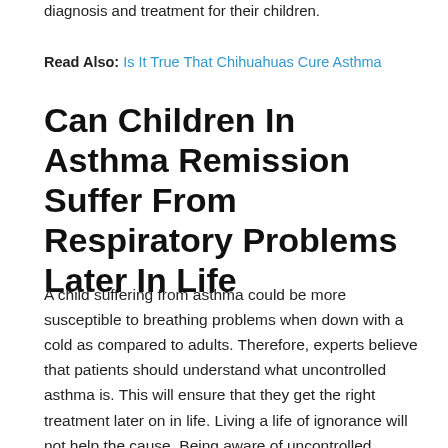diagnosis and treatment for their children.
Read Also: Is It True That Chihuahuas Cure Asthma
Can Children In Asthma Remission Suffer From Respiratory Problems Later In Life
A child suffering from asthma could be more susceptible to breathing problems when down with a cold as compared to adults. Therefore, experts believe that patients should understand what uncontrolled asthma is. This will ensure that they get the right treatment later on in life. Living a life of ignorance will not help the cause. Being aware of uncontrolled asthma will help patients counter in.